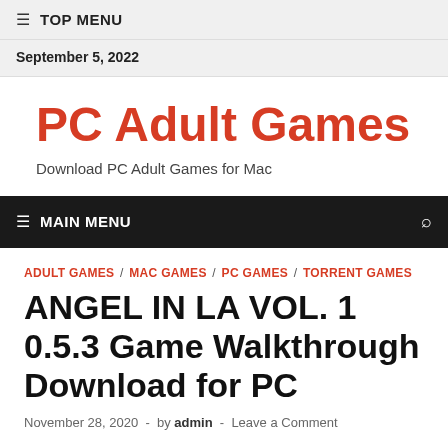≡ TOP MENU
September 5, 2022
PC Adult Games
Download PC Adult Games for Mac
≡ MAIN MENU
ADULT GAMES / MAC GAMES / PC GAMES / TORRENT GAMES
ANGEL IN LA VOL. 1 0.5.3 Game Walkthrough Download for PC
November 28, 2020  -  by admin  -  Leave a Comment